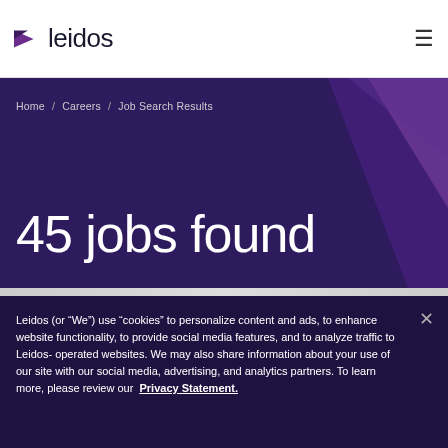leidos
Home / Careers / Job Search Results
45 jobs found
Leidos (or “We”) use “cookies” to personalize content and ads, to enhance website functionality, to provide social media features, and to analyze traffic to Leidos-operated websites. We may also share information about your use of our site with our social media, advertising, and analytics partners. To learn more, please review our Privacy Statement.
Set your cookie preferences